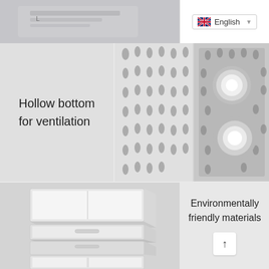[Figure (photo): Close-up of a white storage organizer box top, partially visible, with product text/label. English language selector dropdown visible in top right.]
[Figure (photo): Hollow bottom ventilation design of a white organizer showing oval cutout holes in a grid pattern, with cosmetic bottles visible in compartments.]
Hollow bottom for ventilation
[Figure (photo): White drawer-style cosmetic organizer with multiple pull-out drawers, shown at an angle with one drawer open.]
Environmentally friendly materials